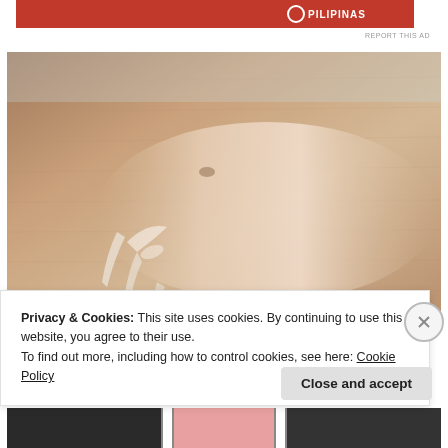[Figure (photo): Red advertisement banner at top of page with white logo/text on red background]
REPORT THIS AD
[Figure (photo): Close-up photograph of human skin (back of hand) showing skin texture with a glossy/liquid substance applied to part of the skin surface]
Privacy & Cookies: This site uses cookies. By continuing to use this website, you agree to their use.
To find out more, including how to control cookies, see here: Cookie Policy
Close and accept